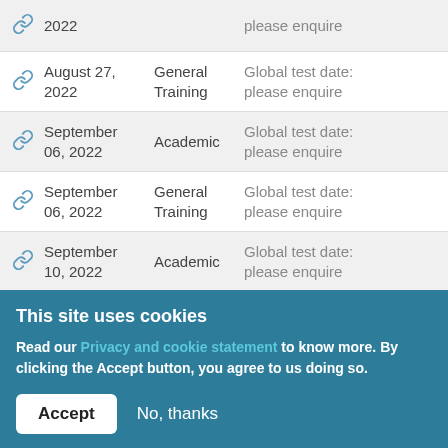|  | Date | Type | Info |
| --- | --- | --- | --- |
| 🔗 | 2022 |  | please enquire |
| 🔗 | August 27, 2022 | General Training | Global test date: please enquire |
| 🔗 | September 06, 2022 | Academic | Global test date: please enquire |
| 🔗 | September 06, 2022 | General Training | Global test date: please enquire |
| 🔗 | September 10, 2022 | Academic | Global test date: please enquire |
This site uses cookies
Read our Privacy and cookie statement to know more. By clicking the Accept button, you agree to us doing so.